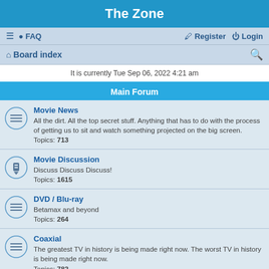The Zone
≡  FAQ    Register  Login
Board index
It is currently Tue Sep 06, 2022 4:21 am
Main Forum
Movie News
All the dirt. All the top secret stuff. Anything that has to do with the process of getting us to sit and watch something projected on the big screen.
Topics: 713
Movie Discussion
Discuss Discuss Discuss!
Topics: 1615
DVD / Blu-ray
Betamax and beyond
Topics: 264
Coaxial
The greatest TV in history is being made right now. The worst TV in history is being made right now.
Topics: 782
Animation
Anime, cartoons and 3D. Animated shorts and features. And don't forget the animation genius in Bulgaria.
Topics: 368